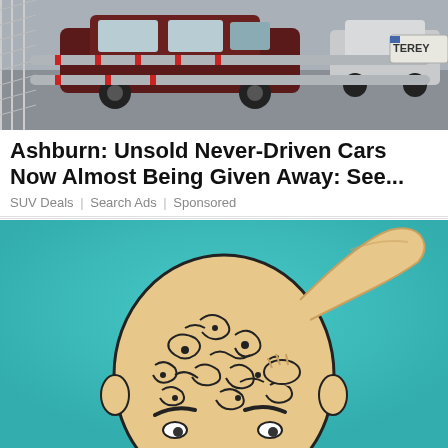[Figure (photo): Outdoor parking lot with a dark red/maroon SUV and metal pipe railing with red tape, chain-link fence visible, sign partially reading TEREY]
Ashburn: Unsold Never-Driven Cars Now Almost Being Given Away: See...
SUV Deals | Search Ads | Sponsored
[Figure (illustration): Illustrated cartoon of a bald man scratching his head with his right hand, with swirling pattern designs on his scalp, teal/turquoise background, colored pencil style artwork]